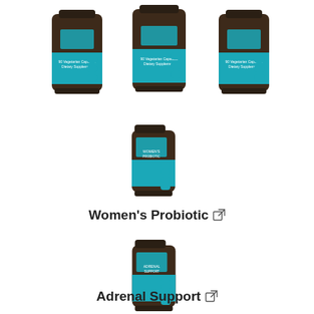[Figure (photo): Three brown supplement bottles with teal labels showing '90 Vegetarian Capsules Dietary Supplement', arranged side by side at the top of the page.]
[Figure (photo): Single brown supplement bottle with teal label featuring Women's Probiotic product with teal circular icons on the side.]
Women's Probiotic
[Figure (photo): Single brown supplement bottle with teal label featuring Adrenal Support product with teal circular icons on the side.]
Adrenal Support